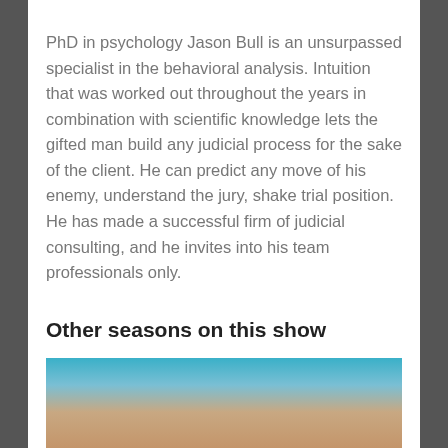PhD in psychology Jason Bull is an unsurpassed specialist in the behavioral analysis. Intuition that was worked out throughout the years in combination with scientific knowledge lets the gifted man build any judicial process for the sake of the client. He can predict any move of his enemy, understand the jury, shake trial position. He has made a successful firm of judicial consulting, and he invites into his team professionals only.
Other seasons on this show
[Figure (photo): Partial photo of a person's face, partially visible at the bottom of the page, with a teal/blue background]